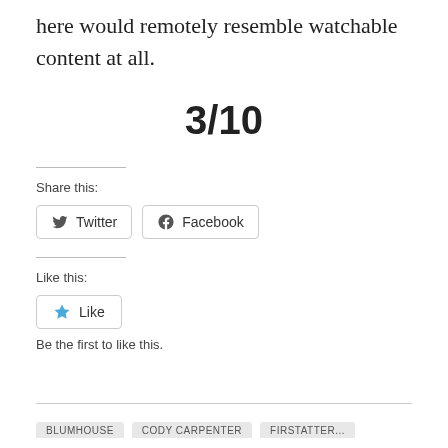here would remotely resemble watchable content at all.
3/10
Share this:
Twitter
Facebook
Like this:
Like
Be the first to like this.